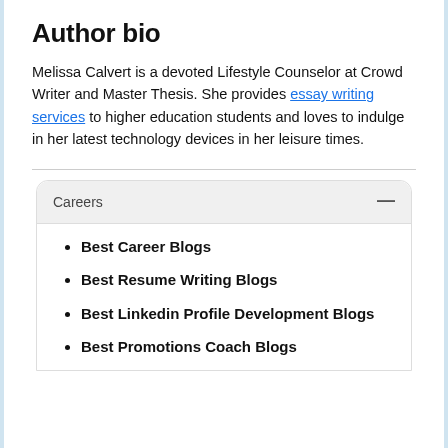Author bio
Melissa Calvert is a devoted Lifestyle Counselor at Crowd Writer and Master Thesis. She provides essay writing services to higher education students and loves to indulge in her latest technology devices in her leisure times.
Careers
Best Career Blogs
Best Resume Writing Blogs
Best Linkedin Profile Development Blogs
Best Promotions Coach Blogs